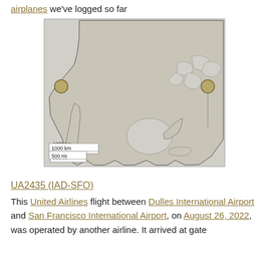airplanes we've logged so far
[Figure (map): Map of North America showing two golden circle markers — one on the west coast (San Francisco area) and one on the east coast (Washington D.C. area) — connected by a vertical gray line. A scale bar in the lower left reads '1000 km' and '500 mi'.]
UA2435 (IAD-SFO)
This United Airlines flight between Dulles International Airport and San Francisco International Airport, on August 26, 2022, was operated by another airline. It arrived at gate